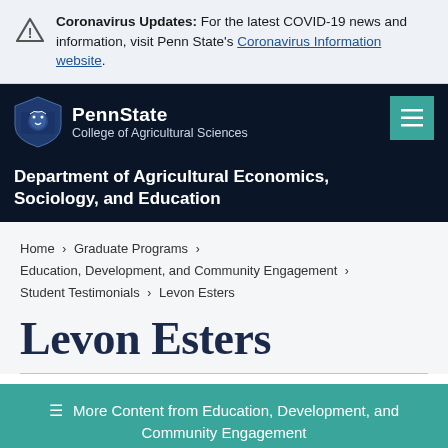Coronavirus Updates: For the latest COVID-19 news and information, visit Penn State's Coronavirus Information website.
PennState College of Agricultural Sciences | Department of Agricultural Economics, Sociology, and Education
Home > Graduate Programs > Education, Development, and Community Engagement > Student Testimonials > Levon Esters
Levon Esters
≡ More Content from Education, Development, and Community Engagement